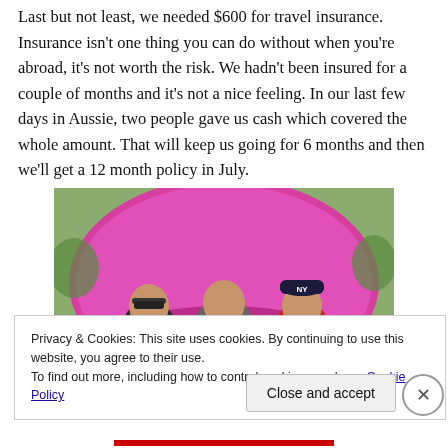Last but not least, we needed $600 for travel insurance. Insurance isn't one thing you can do without when you're abroad, it's not worth the risk. We hadn't been insured for a couple of months and it's not a nice feeling. In our last few days in Aussie, two people gave us cash which covered the whole amount. That will keep us going for 6 months and then we'll get a 12 month policy in July.
[Figure (photo): Three people smiling and sitting in front of a pink/magenta dome tent outdoors on a rocky/sandy area with green foliage in the background. The person on the right is wearing a NY Yankees cap.]
Privacy & Cookies: This site uses cookies. By continuing to use this website, you agree to their use.
To find out more, including how to control cookies, see here: Cookie Policy